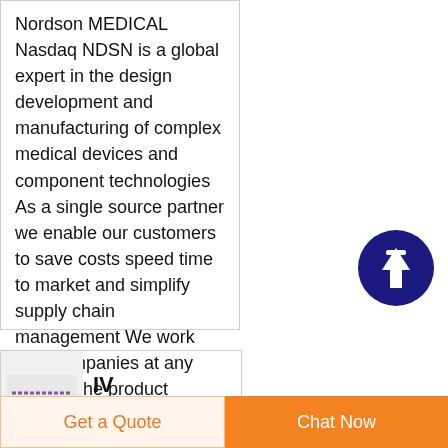Nordson MEDICAL Nasdaq NDSN is a global expert in the design development and manufacturing of complex medical devices and component technologies As a single source partner we enable our customers to save costs speed time to market and simplify supply chain management We work with companies at any point in the product lifecycle from
[Figure (other): Dark blue circle with white upward arrow icon, a scroll-to-top button]
[Figure (photo): Small thumbnail image showing colored lines/tubes on a light gray background, likely representing IV administration tubing]
IV Administration
Get a Quote
Chat Now